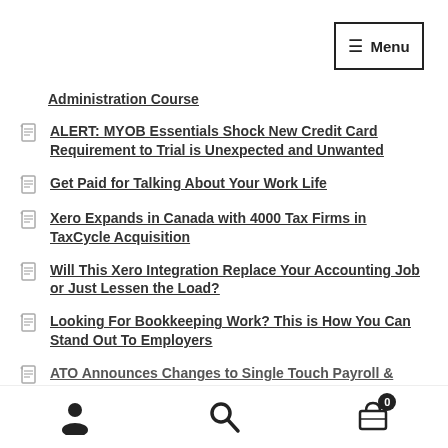Menu
Administration Course
ALERT: MYOB Essentials Shock New Credit Card Requirement to Trial is Unexpected and Unwanted
Get Paid for Talking About Your Work Life
Xero Expands in Canada with 4000 Tax Firms in TaxCycle Acquisition
Will This Xero Integration Replace Your Accounting Job or Just Lessen the Load?
Looking For Bookkeeping Work? This is How You Can Stand Out To Employers
ATO Announces Changes to Single Touch Payroll & EzyLearn
user icon | search icon | cart 0